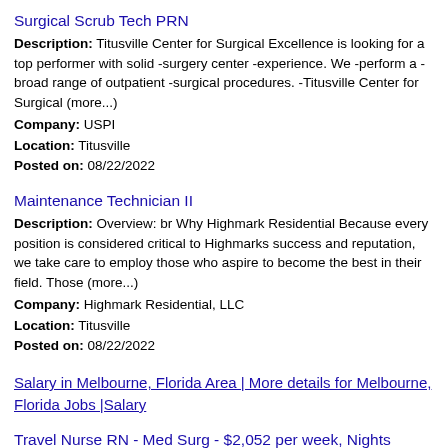Surgical Scrub Tech PRN
Description: Titusville Center for Surgical Excellence is looking for a top performer with solid -surgery center -experience. We -perform a -broad range of outpatient -surgical procedures. -Titusville Center for Surgical (more...)
Company: USPI
Location: Titusville
Posted on: 08/22/2022
Maintenance Technician II
Description: Overview: br Why Highmark Residential Because every position is considered critical to Highmarks success and reputation, we take care to employ those who aspire to become the best in their field. Those (more...)
Company: Highmark Residential, LLC
Location: Titusville
Posted on: 08/22/2022
Salary in Melbourne, Florida Area | More details for Melbourne, Florida Jobs |Salary
Travel Nurse RN - Med Surg - $2,052 per week, Nights
Description: Jackson Nurse Professionals is seeking a travel nurse